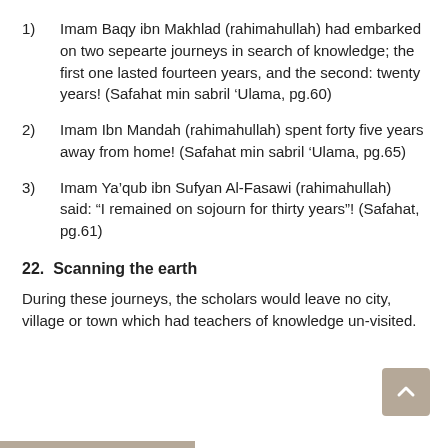1)      Imam Baqy ibn Makhlad (rahimahullah) had embarked on two sepearte journeys in search of knowledge; the first one lasted fourteen years, and the second: twenty years! (Safahat min sabril ‘Ulama, pg.60)
2)      Imam Ibn Mandah (rahimahullah) spent forty five years away from home! (Safahat min sabril ‘Ulama, pg.65)
3)      Imam Ya’qub ibn Sufyan Al-Fasawi (rahimahullah) said: “I remained on sojourn for thirty years”! (Safahat, pg.61)
22.  Scanning the earth
During these journeys, the scholars would leave no city, village or town which had teachers of knowledge un-visited.